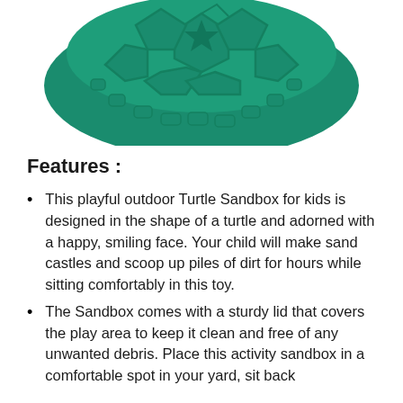[Figure (photo): Top portion of a green turtle-shaped sandbox with patterned shell surface visible against a white background.]
Features :
This playful outdoor Turtle Sandbox for kids is designed in the shape of a turtle and adorned with a happy, smiling face. Your child will make sand castles and scoop up piles of dirt for hours while sitting comfortably in this toy.
The Sandbox comes with a sturdy lid that covers the play area to keep it clean and free of any unwanted debris. Place this activity sandbox in a comfortable spot in your yard, sit back